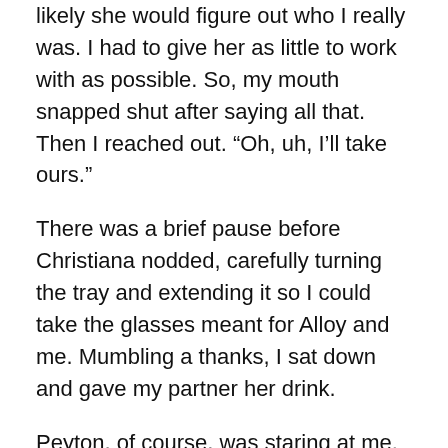likely she would figure out who I really was. I had to give her as little to work with as possible. So, my mouth snapped shut after saying all that. Then I reached out. “Oh, uh, I’ll take ours.”
There was a brief pause before Christiana nodded, carefully turning the tray and extending it so I could take the glasses meant for Alloy and me. Mumbling a thanks, I sat down and gave my partner her drink.
Peyton, of course, was staring at me. “Are you okay?” she asked in a whisper that was barely audible. “You seemed a little… uhh, not.”
Taking a gulp of my drink, I quickly shook my head. “It’s fine, I’m fine. It’s just … different being in a place like this, you know?”
That seemed to do the trick. Then the side of his...